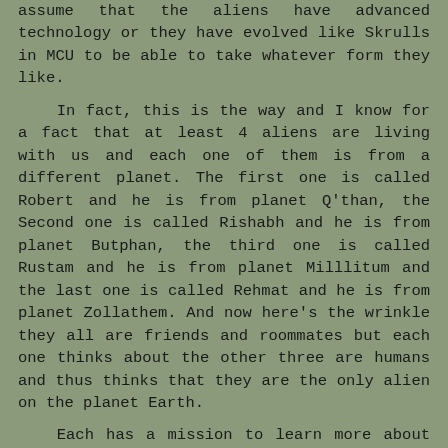assume that the aliens have advanced technology or they have evolved like Skrulls in MCU to be able to take whatever form they like.

In fact, this is the way and I know for a fact that at least 4 aliens are living with us and each one of them is from a different planet. The first one is called Robert and he is from planet Q'than, the Second one is called Rishabh and he is from planet Butphan, the third one is called Rustam and he is from planet Milllitum and the last one is called Rehmat and he is from planet Zollathem. And now here's the wrinkle they all are friends and roommates but each one thinks about the other three are humans and thus thinks that they are the only alien on the planet Earth.

Each has a mission to learn more about the Earth's culture and each one tries to focus on the other three in hopes to learn more about the people of earth but the mission isn't going well as they all are clueless about the Earth's culture themselves.  All are playing the roles of 20 something slackers, staying at home smoking, drinking, and playing games after all those can tell a little